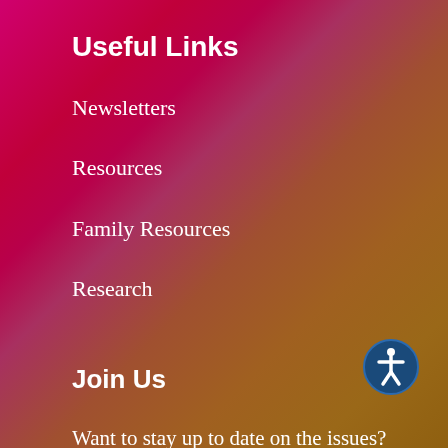Useful Links
Newsletters
Resources
Family Resources
Research
Join Us
Want to stay up to date on the issues? Sign up to receive the latest...